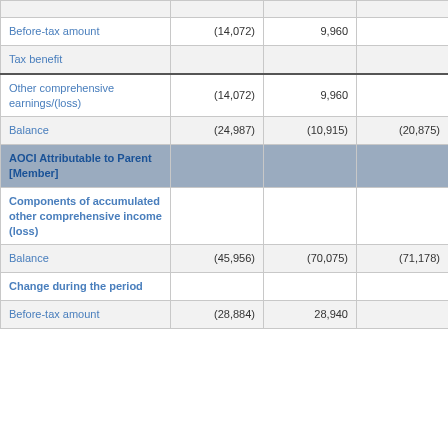|  |  |  |  |
| --- | --- | --- | --- |
| Before-tax amount | (14,072) | 9,960 |  |
| Tax benefit |  |  |  |
| Other comprehensive earnings/(loss) | (14,072) | 9,960 |  |
| Balance | (24,987) | (10,915) | (20,875) |
| AOCI Attributable to Parent [Member] |  |  |  |
| Components of accumulated other comprehensive income (loss) |  |  |  |
| Balance | (45,956) | (70,075) | (71,178) |
| Change during the period |  |  |  |
| Before-tax amount | (28,884) | 28,940 |  |